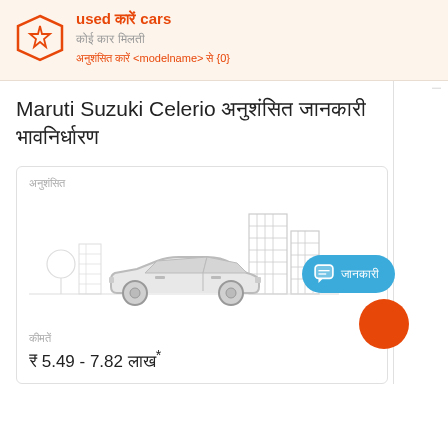used कारें cars
कोई कार मिलती
अनुशंसित कारें <modelname> से {0}
Maruti Suzuki Celerio अनुशंसित कारें भावनिर्धारण
[Figure (illustration): Line art illustration of a sedan car with city buildings in background, grey/outline style]
कीमतें
₹ 5.49 - 7.82 लाख*